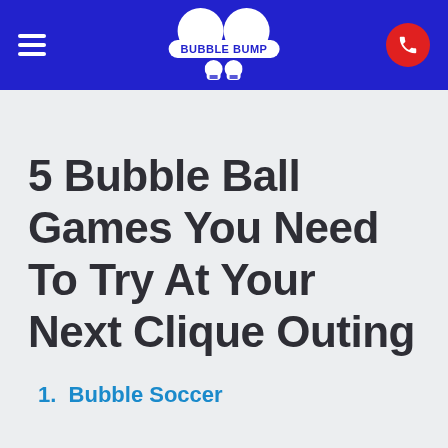BUBBLE BUMP
5 Bubble Ball Games You Need To Try At Your Next Clique Outing
1. Bubble Soccer